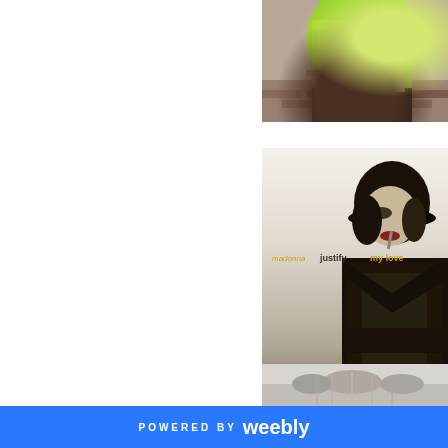[Figure (photo): Photo of a person wearing a neon green lace top with a cross necklace and black skirt, standing against a brick wall background. Image is cropped to show torso/midriff area.]
[Figure (photo): Black and white promotional photo for Madonna's single 'justify my love'. Shows Madonna in a black leather outfit with a cap, with text overlay reading 'madonna justify my love' in orange and dark lettering.]
[Figure (photo): Partial photo visible at bottom right, appears to show a crowd or event scene.]
POWERED BY weebly